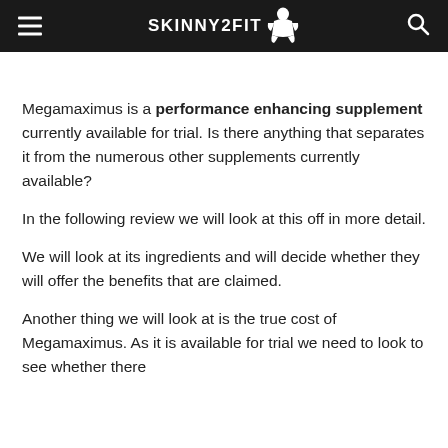SKINNY2FIT
Megamaximus is a performance enhancing supplement currently available for trial. Is there anything that separates it from the numerous other supplements currently available?
In the following review we will look at this off in more detail.
We will look at its ingredients and will decide whether they will offer the benefits that are claimed.
Another thing we will look at is the true cost of Megamaximus. As it is available for trial we need to look to see whether there